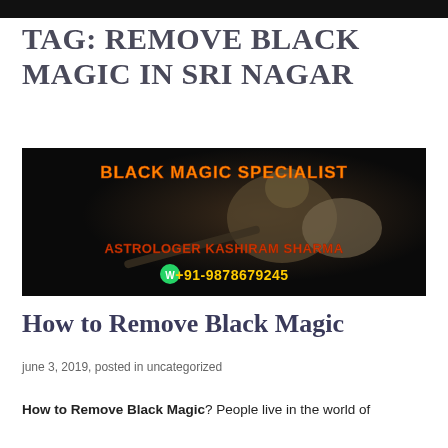TAG: REMOVE BLACK MAGIC IN SRI NAGAR
[Figure (photo): Black magic specialist advertisement image with voodoo doll on dark background, text: BLACK MAGIC SPECIALIST, ASTROLOGER KASHIRAM SHARMA, +91-9878679245]
How to Remove Black Magic
june 3, 2019, posted in uncategorized
How to Remove Black Magic? People live in the world of